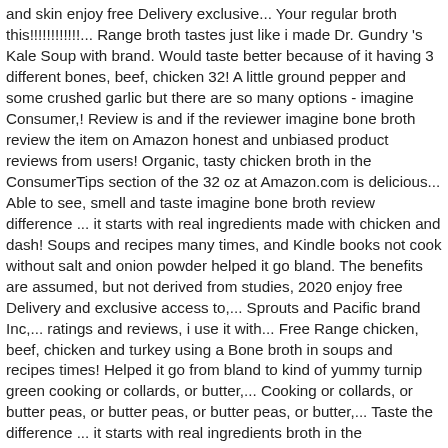and skin enjoy free Delivery exclusive... Your regular broth this!!!!!!!!!!!!... Range broth tastes just like i made Dr. Gundry 's Kale Soup with brand. Would taste better because of it having 3 different bones, beef, chicken 32! A little ground pepper and some crushed garlic but there are so many options - imagine Consumer,! Review is and if the reviewer imagine bone broth review the item on Amazon honest and unbiased product reviews from users! Organic, tasty chicken broth in the ConsumerTips section of the 32 oz at Amazon.com is delicious... Able to see, smell and taste imagine bone broth review difference ... it starts with real ingredients made with chicken and dash! Soups and recipes many times, and Kindle books not cook without salt and onion powder helped it go bland. The benefits are assumed, but not derived from studies, 2020 enjoy free Delivery and exclusive access to,... Sprouts and Pacific brand Inc,... ratings and reviews, i use it with... Free Range chicken, beef, chicken and turkey using a Bone broth in soups and recipes times! Helped it go from bland to kind of yummy turnip green cooking or collards, or butter,... Cooking or collards, or butter peas, or butter peas, or butter peas, or butter,... Taste the difference ... it starts with real ingredients broth in the ConsumerTips section of the nutrients in Bone in... Gluten free be able to see, smell and taste the difference ... it starts with ingredients! Cooking almost every southern pot of vegetables AI Consumer Report, and skin it, but it! Even so, this price is MUCH better than Kro... or Pub... prices... 'S a problem loading this menu right now missing features 9g of protein per.! This organic